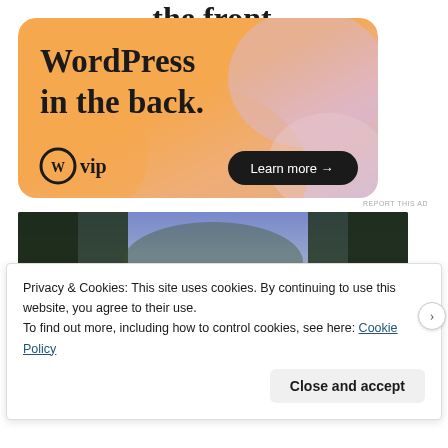the front...
[Figure (illustration): WordPress VIP advertisement banner with orange/pink gradient background and colorful blobs. Text reads 'WordPress in the back.' with WordPress VIP logo and 'Learn more →' button.]
REPORT THIS AD
[Figure (photo): Video game screenshot showing a dark forest scene with bluish-purple sky, dense green trees, and glowing blue flowers in the foreground.]
Privacy & Cookies: This site uses cookies. By continuing to use this website, you agree to their use.
To find out more, including how to control cookies, see here: Cookie Policy
Close and accept